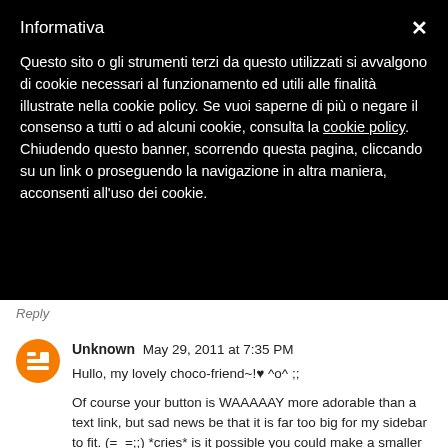Informativa
Questo sito o gli strumenti terzi da questo utilizzati si avvalgono di cookie necessari al funzionamento ed utili alle finalità illustrate nella cookie policy. Se vuoi saperne di più o negare il consenso a tutti o ad alcuni cookie, consulta la cookie policy.
Chiudendo questo banner, scorrendo questa pagina, cliccando su un link o proseguendo la navigazione in altra maniera, acconsenti all'uso dei cookie.
Reply
Unknown May 29, 2011 at 7:35 PM
Hullo, my lovely choco-friend~!♥ ^o^ ;;
Of course your button is WAAAAAY more adorable than a text link, but sad news be that it is far too big for my sidebar to fit. (=_=;;) *cries* is it possible you could make a smaller version of button? ♪